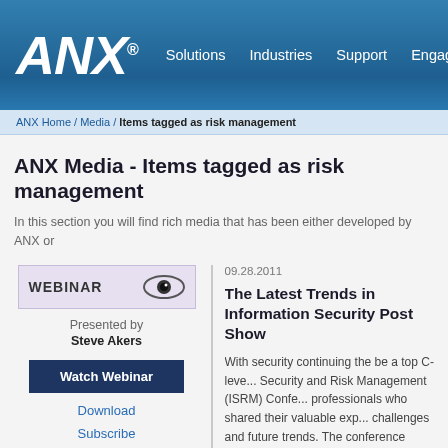ANX - Solutions | Industries | Support | Engage
ANX Home / Media / Items tagged as risk management
ANX Media - Items tagged as risk management
In this section you will find rich media that has been either developed by ANX or...
[Figure (screenshot): Webinar badge with eye icon, Presented by Steve Akers, Watch Webinar button, Download and Subscribe links]
09.28.2011
The Latest Trends in Information Security Post Show
With security continuing the be a top C-leve... Security and Risk Management (ISRM) Confe... professionals who shared their valuable exp... challenges and future trends. The conference provided attendees exposure to new ideas a... results in the areas of information security, and risk management. As an exhibitor, ANX...